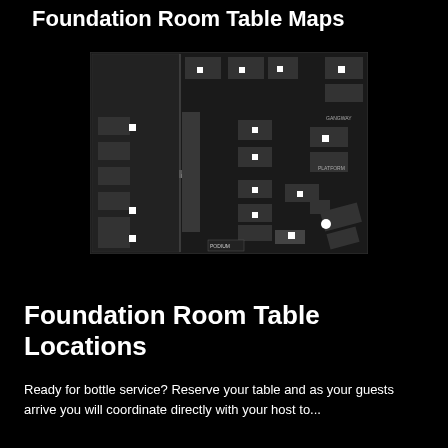Foundation Room Table Maps
[Figure (map): Dark floor plan map of the Foundation Room showing table locations marked with small white squares and labels such as PODIUM, GANGWAY, and PLATFORM. Tables arranged throughout the venue space on a dark background.]
Foundation Room Table Locations
Ready for bottle service? Reserve your table and as your guests arrive you will coordinate directly with your host to...